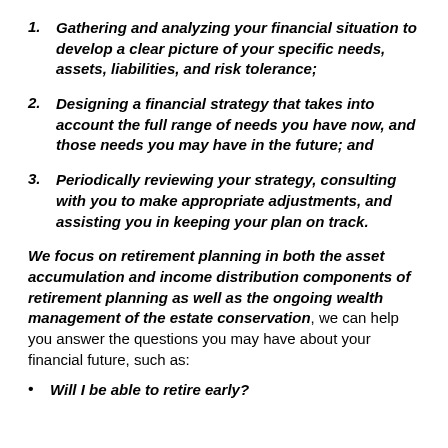1. Gathering and analyzing your financial situation to develop a clear picture of your specific needs, assets, liabilities, and risk tolerance;
2. Designing a financial strategy that takes into account the full range of needs you have now, and those needs you may have in the future; and
3. Periodically reviewing your strategy, consulting with you to make appropriate adjustments, and assisting you in keeping your plan on track.
We focus on retirement planning in both the asset accumulation and income distribution components of retirement planning as well as the ongoing wealth management of the estate conservation, we can help you answer the questions you may have about your financial future, such as:
Will I be able to retire early?